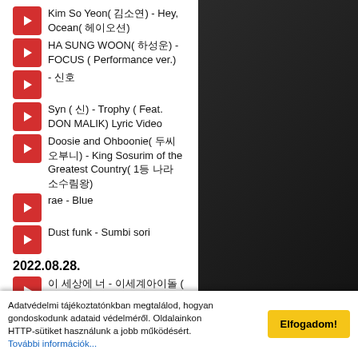Kim So Yeon( 김소연) - Hey, Ocean( 헤이오션)
HA SUNG WOON( 하성운) - FOCUS ( Performance ver.)
- 신호
Syn ( 신) - Trophy ( Feat. DON MALIK) Lyric Video
Doosie and Ohboonie( 두씨 오부니) - King Sosurim of the Greatest Country( 1등 나라 소수림왕)
rae - Blue
Dust funk - Sumbi sori
2022.08.28.
이 세상에 너 - 이세계아이돌 ( Feat. 이 세계) ( )
KEIN - The Reason( 그 이유
Adatvédelmi tájékoztatónkban megtalálod, hogyan gondoskodunk adataid védelméről. Oldalainkon HTTP-sütiket használunk a jobb működésért. További információk...
Elfogadom!